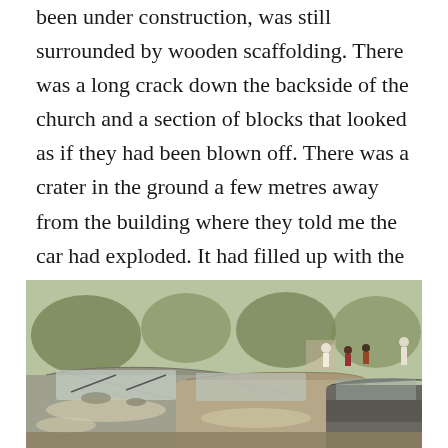been under construction, was still surrounded by wooden scaffolding. There was a long crack down the backside of the church and a section of blocks that looked as if they had been blown off. There was a crater in the ground a few metres away from the building where they told me the car had exploded. It had filled up with the church bulletins that were scattered all over the compound. All of the cars in the car park were damaged with shattered windows, and drooping frames. Those closest to the building were blackened and pocked, with door handles blown off.
[Figure (photo): Photograph of multiple damaged cars with shattered windshields and debris, parked in a lot. People can be seen in the background among trees.]